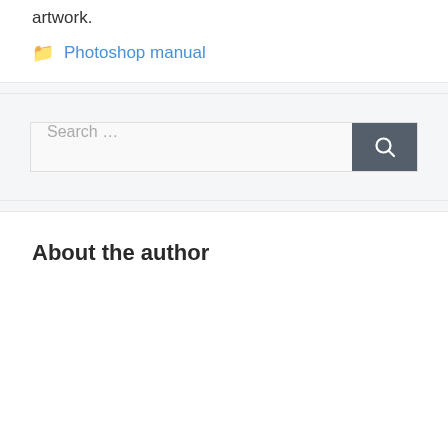artwork.
Photoshop manual
[Figure (screenshot): Search bar with text input field placeholder 'Search ...' and dark gray search button with magnifying glass icon]
About the author